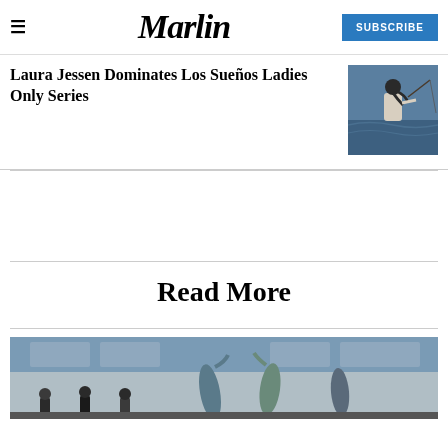≡   Marlin   SUBSCRIBE
Laura Jessen Dominates Los Sueños Ladies Only Series
[Figure (photo): Woman fishing from a boat, seen from behind, holding a fishing rod with ocean in background]
[Figure (photo): Group of people standing near hanging large fish (marlin/tuna) at a marina or dock, building visible in background]
Read More